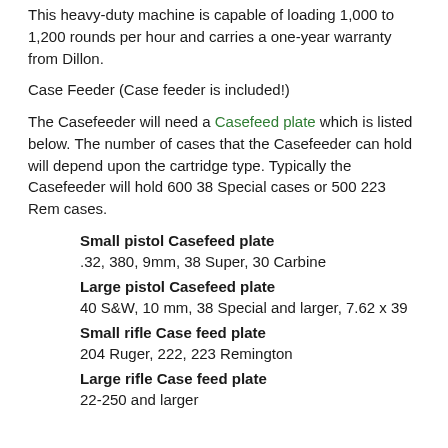This heavy-duty machine is capable of loading 1,000 to 1,200 rounds per hour and carries a one-year warranty from Dillon.
Case Feeder (Case feeder is included!)
The Casefeeder will need a Casefeed plate which is listed below. The number of cases that the Casefeeder can hold will depend upon the cartridge type. Typically the Casefeeder will hold 600 38 Special cases or 500 223 Rem cases.
Small pistol Casefeed plate
.32, 380, 9mm, 38 Super, 30 Carbine
Large pistol Casefeed plate
40 S&W, 10 mm, 38 Special and larger, 7.62 x 39
Small rifle Case feed plate
204 Ruger, 222, 223 Remington
Large rifle Case feed plate
22-250 and larger